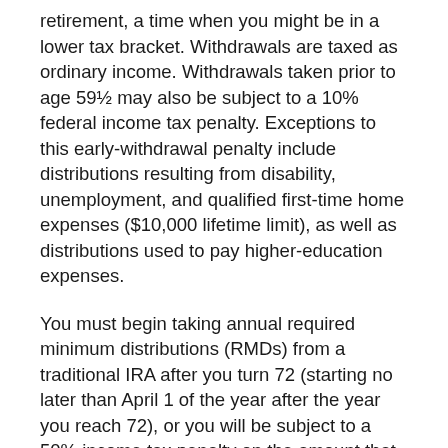retirement, a time when you might be in a lower tax bracket. Withdrawals are taxed as ordinary income. Withdrawals taken prior to age 59½ may also be subject to a 10% federal income tax penalty. Exceptions to this early-withdrawal penalty include distributions resulting from disability, unemployment, and qualified first-time home expenses ($10,000 lifetime limit), as well as distributions used to pay higher-education expenses.
You must begin taking annual required minimum distributions (RMDs) from a traditional IRA after you turn 72 (starting no later than April 1 of the year after the year you reach 72), or you will be subject to a 50% income tax penalty on the amount that should have been withdrawn. Of course, you can always withdraw more than the required minimum amount or even withdraw the entire balance at once.